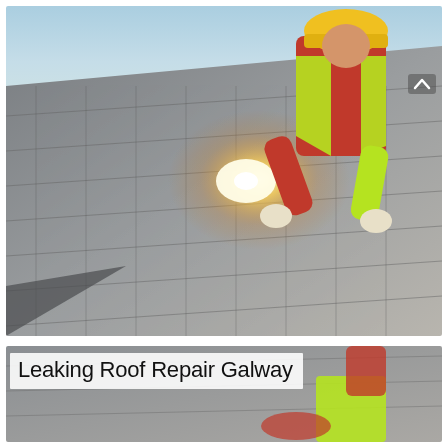[Figure (photo): A roofer wearing a yellow hard hat and hi-vis vest and red plaid shirt kneels on grey slate roof tiles, working with a tool. Bright sunlight flare visible in the middle of the image. Blue sky in background.]
[Figure (photo): Partial view of a roofer in a yellow hi-vis vest working on a roof, seen from below. A white semi-transparent overlay banner reads 'Leaking Roof Repair Galway' in large sans-serif font.]
Leaking Roof Repair Galway